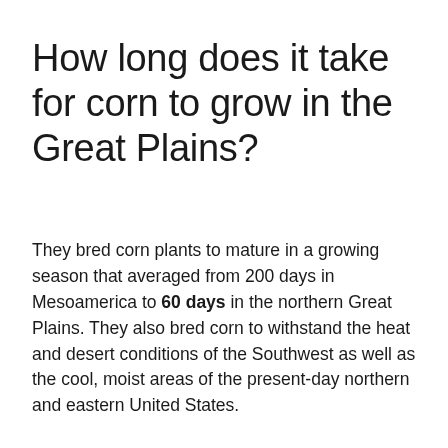How long does it take for corn to grow in the Great Plains?
They bred corn plants to mature in a growing season that averaged from 200 days in Mesoamerica to 60 days in the northern Great Plains. They also bred corn to withstand the heat and desert conditions of the Southwest as well as the cool, moist areas of the present-day northern and eastern United States.